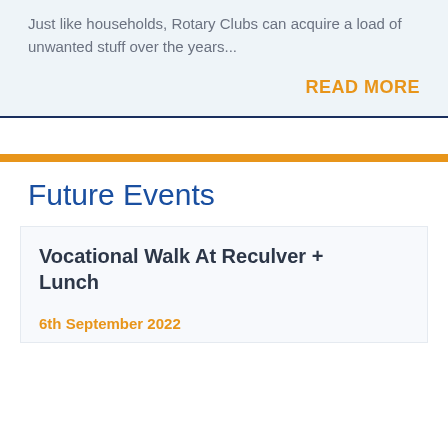Just like households, Rotary Clubs can acquire a load of unwanted stuff over the years...
READ MORE
Future Events
Vocational Walk At Reculver + Lunch
6th September 2022